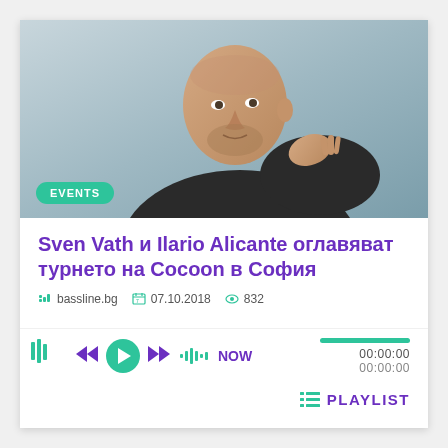[Figure (photo): Portrait photo of a bald man in a dark jacket against a light blue-grey background, posed with hand near chest]
EVENTS
Sven Vath и Ilario Alicante оглавяват турнето на Cocoon в София
bassline.bg  07.10.2018  832
NOW  00:00:00  00:00:00
PLAYLIST